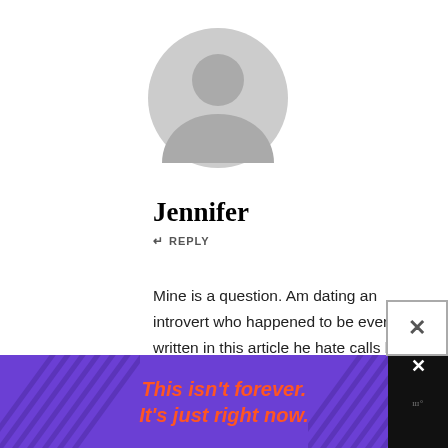[Figure (illustration): Default gray user avatar icon — circular silhouette of a person]
Jennifer
↩ REPLY
Mine is a question. Am dating an introvert who happened to be everything written in this article he hate calls but i keep insisting he calls and he always respond to me if it concerns my career, he said his scared to loose me but sometimes I feel am in a one sided relationship cause he doesn't call me
[Figure (other): Purple advertisement banner with orange italic text: 'This isn't forever. It's just right now.']